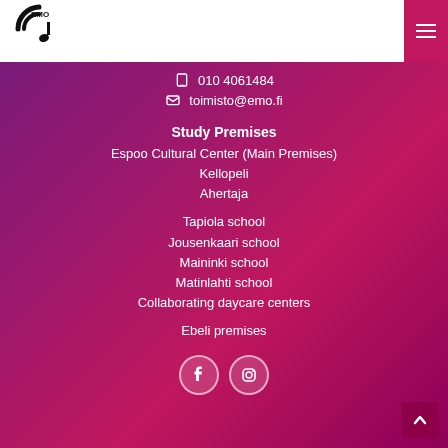[Figure (logo): EMO music school logo — stylized headphone/music note with EMO text]
[Figure (other): Hamburger menu button in magenta/pink]
010 4061484
toimisto@emo.fi
Study Premises
Espoo Cultural Center (Main Premises)
Kellopeli
Ahertaja
Tapiola school
Jousenkaari school
Maininki school
Matinlahti school
Collaborating daycare centers
Ebeli premises
[Figure (logo): Facebook and Instagram social media icon circles]